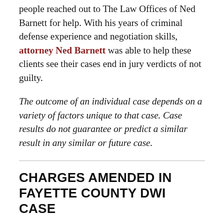people reached out to The Law Offices of Ned Barnett for help. With his years of criminal defense experience and negotiation skills, attorney Ned Barnett was able to help these clients see their cases end in jury verdicts of not guilty.
The outcome of an individual case depends on a variety of factors unique to that case. Case results do not guarantee or predict a similar result in any similar or future case.
CHARGES AMENDED IN FAYETTE COUNTY DWI CASE
Recently, an individual in Fayette County found themselves facing criminal charges for